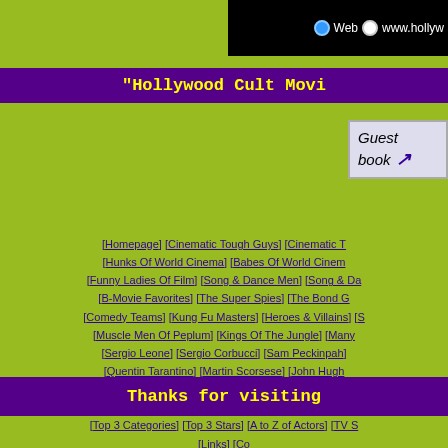[Figure (screenshot): Browser navigation bar with Web radio button selected and partial URL www.hollyw...]
"Hollywood Cult Movi...
[Figure (other): Guest book link button with italic text 'Guest book' and arrow]
[Homepage] [Cinematic Tough Guys] [Cinematic T... [Hunks Of World Cinema] [Babes Of World Cinem... [Funny Ladies Of Film] [Song & Dance Men] [Song & Da... [B-Movie Favorites] [The Super Spies] [The Bond G... [Comedy Teams] [Kung Fu Masters] [Heroes & Villains] [S... [Muscle Men Of Peplum] [Kings Of The Jungle] [Many... [Sergio Leone] [Sergio Corbucci] [Sam Peckinpah] [... [Quentin Tarantino] [Martin Scorsese] [John Hugh... [Millennium Starlets] [TV Cowboys] [TV Cops & PI's] [T... [Movie Trivia] [Movie Quotes] [Top 5 Male Stars] [To... [Top 3 Categories] [Top 3 Stars] [A to Z of Actors] [TV S... [Links] [Co...
Thanks for visiting...